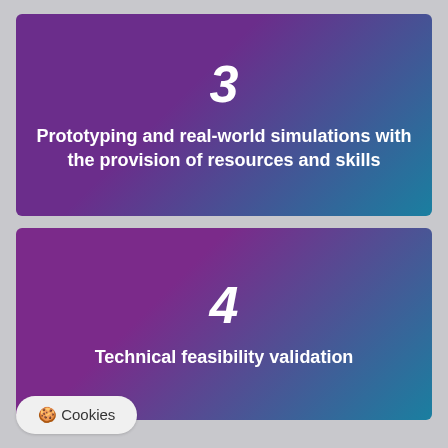[Figure (infographic): Card with number 3 and text: Prototyping and real-world simulations with the provision of resources and skills. Purple to teal gradient background.]
[Figure (infographic): Card with number 4 and text: Technical feasibility validation. Purple to teal gradient background.]
Cookies